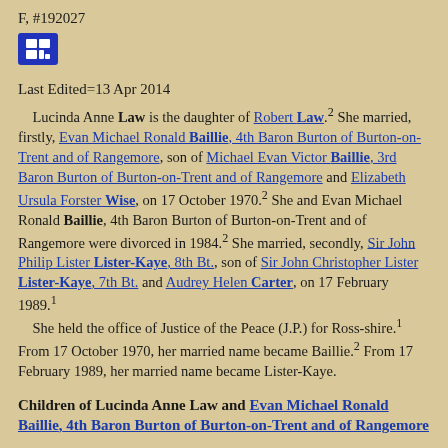F, #192027
[Figure (other): Blue icon box with white grid/table symbol]
Last Edited=13 Apr 2014
Lucinda Anne Law is the daughter of Robert Law.2 She married, firstly, Evan Michael Ronald Baillie, 4th Baron Burton of Burton-on-Trent and of Rangemore, son of Michael Evan Victor Baillie, 3rd Baron Burton of Burton-on-Trent and of Rangemore and Elizabeth Ursula Forster Wise, on 17 October 1970.2 She and Evan Michael Ronald Baillie, 4th Baron Burton of Burton-on-Trent and of Rangemore were divorced in 1984.2 She married, secondly, Sir John Philip Lister Lister-Kaye, 8th Bt., son of Sir John Christopher Lister Lister-Kaye, 7th Bt. and Audrey Helen Carter, on 17 February 1989.1 She held the office of Justice of the Peace (J.P.) for Ross-shire.1 From 17 October 1970, her married name became Baillie.2 From 17 February 1989, her married name became Lister-Kaye.
Children of Lucinda Anne Law and Evan Michael Ronald Baillie, 4th Baron Burton of Burton-on-Trent and of Rangemore